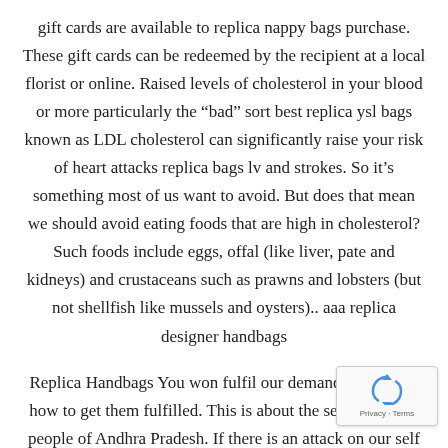gift cards are available to replica nappy bags purchase. These gift cards can be redeemed by the recipient at a local florist or online. Raised levels of cholesterol in your blood or more particularly the “bad” sort best replica ysl bags known as LDL cholesterol can significantly raise your risk of heart attacks replica bags lv and strokes. So it’s something most of us want to avoid. But does that mean we should avoid eating foods that are high in cholesterol? Such foods include eggs, offal (like liver, pate and kidneys) and crustaceans such as prawns and lobsters (but not shellfish like mussels and oysters).. aaa replica designer handbags
Replica Handbags You won fulfil our demands, we know how to get them fulfilled. This is about the self respect of people of Andhra Pradesh. If there is an attack on our self respect, we won tolerate it. These are undeserved emotions, however, for what we really doing is condescending replica bags from turkey to people and showing bags china them a lack of respect. And we need to do so. Carefully...